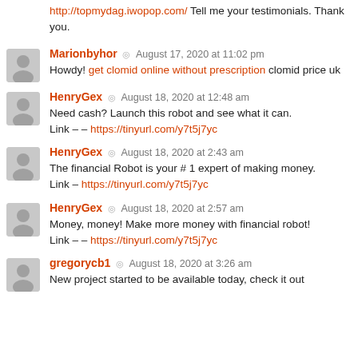http://topmydag.iwopop.com/ Tell me your testimonials. Thank you.
Marionbyhor ◎ August 17, 2020 at 11:02 pm
Howdy! get clomid online without prescription clomid price uk
HenryGex ◎ August 18, 2020 at 12:48 am
Need cash? Launch this robot and see what it can.
Link – – https://tinyurl.com/y7t5j7yc
HenryGex ◎ August 18, 2020 at 2:43 am
The financial Robot is your # 1 expert of making money.
Link – https://tinyurl.com/y7t5j7yc
HenryGex ◎ August 18, 2020 at 2:57 am
Money, money! Make more money with financial robot!
Link – – https://tinyurl.com/y7t5j7yc
gregorycb1 ◎ August 18, 2020 at 3:26 am
New project started to be available today, check it out